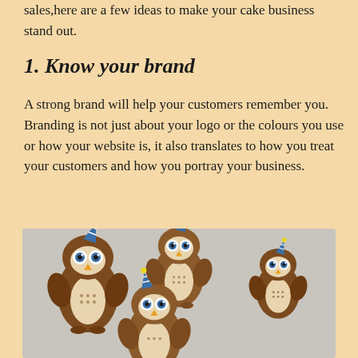sales,here are a few ideas to make your cake business stand out.
1. Know your brand
A strong brand will help your customers remember you.  Branding is not just about your logo or the colours you use or how your website is, it also translates to how you treat your customers and how you portray your business.
[Figure (photo): Photo of four cute owl-shaped cake pops decorated with fondant features including party hats, big eyes, beaks, and textured brown bodies on a light grey background.]